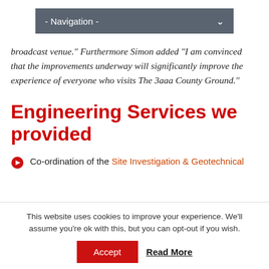- Navigation -
broadcast venue.” Furthermore Simon added “I am convinced that the improvements underway will significantly improve the experience of everyone who visits The 3aaa County Ground.”
Engineering Services we provided
Co-ordination of the Site Investigation & Geotechnical
This website uses cookies to improve your experience. We’ll assume you’re ok with this, but you can opt-out if you wish.
Accept   Read More